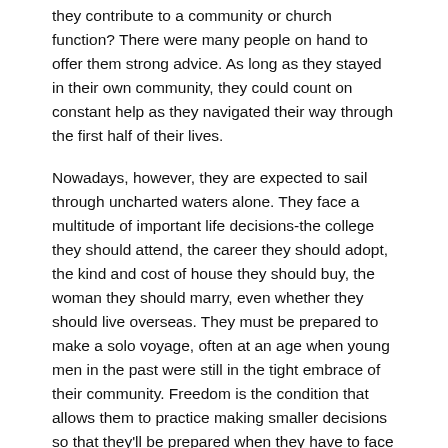they contribute to a community or church function? There were many people on hand to offer them strong advice. As long as they stayed in their own community, they could count on constant help as they navigated their way through the first half of their lives.
Nowadays, however, they are expected to sail through uncharted waters alone. They face a multitude of important life decisions-the college they should attend, the career they should adopt, the kind and cost of house they should buy, the woman they should marry, even whether they should live overseas. They must be prepared to make a solo voyage, often at an age when young men in the past were still in the tight embrace of their community. Freedom is the condition that allows them to practice making smaller decisions so that they'll be prepared when they have to face the real hard choices of life. They need room to try out their sailing canoe not too far from shore before they head for the open sea.
Freedom does not mean turning young men loose and leaving them entirely on their own. On every island in Micronesia can be found a few of those sorry souls who wander as they please doing whatever they wish whenever they wish. They are at least as bad off as the young people who are kept under lock and key by